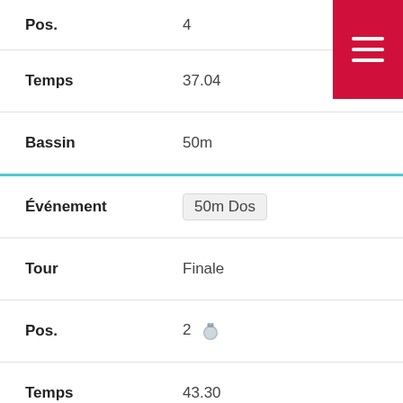| Label | Value |
| --- | --- |
| Pos. | 4 |
| Temps | 37.04 |
| Bassin | 50m |
| Événement | 50m Dos |
| Tour | Finale |
| Pos. | 2 🥈 |
| Temps | 43.30 |
| Bassin | 50m |
| Événement | 200m 4 Nages |